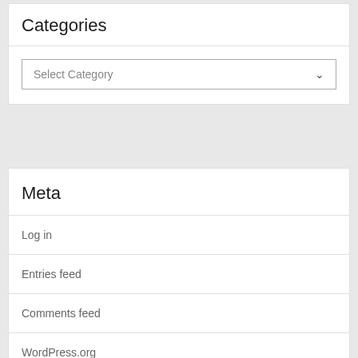Categories
Select Category
Meta
Log in
Entries feed
Comments feed
WordPress.org